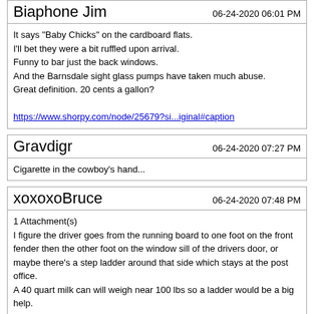Biaphone Jim
06-24-2020 06:01 PM
It says "Baby Chicks" on the cardboard flats.
I'll bet they were a bit ruffled upon arrival.
Funny to bar just the back windows.
And the Barnsdale sight glass pumps have taken much abuse.
Great definition. 20 cents a gallon?
https://www.shorpy.com/node/25679?si...iginal#caption
Gravdigr
06-24-2020 07:27 PM
Cigarette in the cowboy's hand...
xoxoxoBruce
06-24-2020 07:48 PM
1 Attachment(s)
I figure the driver goes from the running board to one foot on the front fender then the other foot on the window sill of the drivers door, or maybe there's a step ladder around that side which stays at the post office.
A 40 quart milk can will weigh near 100 lbs so a ladder would be a big help.

At least the roads were better than they were for these guys...